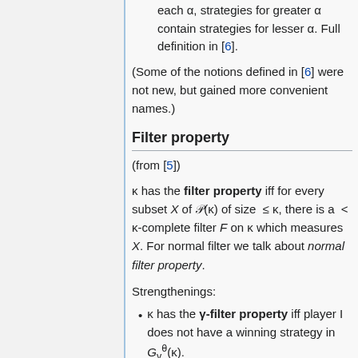each α, strategies for greater α contain strategies for lesser α. Full definition in [6].
(Some of the notions defined in [6] were not new, but gained more convenient names.)
Filter property
(from [5])
κ has the filter property iff for every subset X of 𝒫(κ) of size ≤ κ, there is a < κ-complete filter F on κ which measures X. For normal filter we talk about normal filter property.
Strengthenings:
κ has the γ-filter property iff player I does not have a winning strategy in G_γ^θ(κ).
κ has the strategic γ-filter property